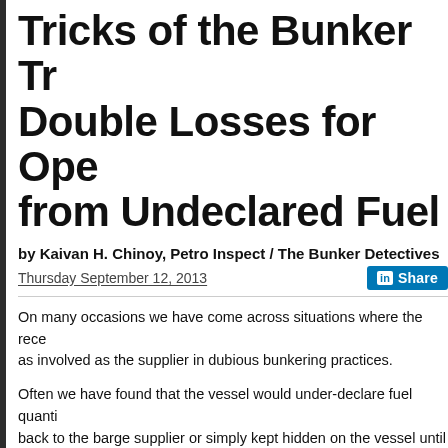Tricks of the Bunker Trade: Double Losses for Operators from Undeclared Fuel
by Kaivan H. Chinoy, Petro Inspect / The Bunker Detectives
Thursday September 12, 2013
On many occasions we have come across situations where the receiver was as involved as the supplier in dubious bunkering practices.
Often we have found that the vessel would under-declare fuel quantities back to the barge supplier or simply kept hidden on the vessel until a to profit from this.
Ultimately, it's the operator who is affected – who can actually suffer
Scenario 1: Under-declaring - To Ship Owners Advantage